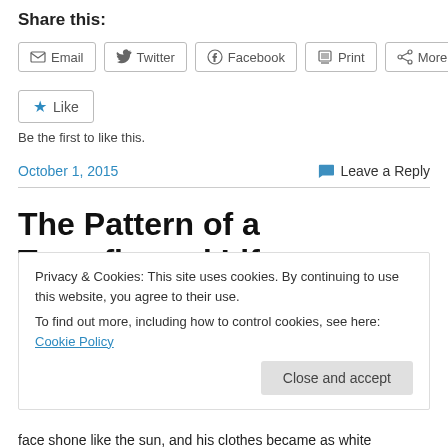Share this:
Email  Twitter  Facebook  Print  More
Like
Be the first to like this.
October 1, 2015    Leave a Reply
The Pattern of a Transfigured Life
Privacy & Cookies: This site uses cookies. By continuing to use this website, you agree to their use.
To find out more, including how to control cookies, see here: Cookie Policy
Close and accept
face shone like the sun, and his clothes became as white